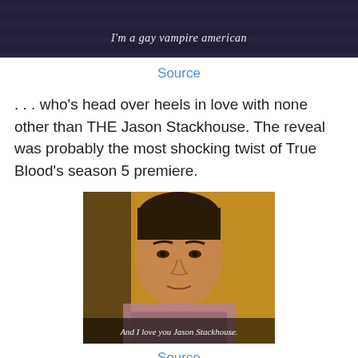[Figure (screenshot): Dark screenshot with subtitle text reading: I'm a gay vampire american]
Source
. . .  who's head over heels in love with none other than THE Jason Stackhouse.  The reveal was probably the most shocking twist of True Blood's season 5 premiere.
[Figure (screenshot): Photo of a man with subtitle: And I love you Jason Stackhouse.]
Source